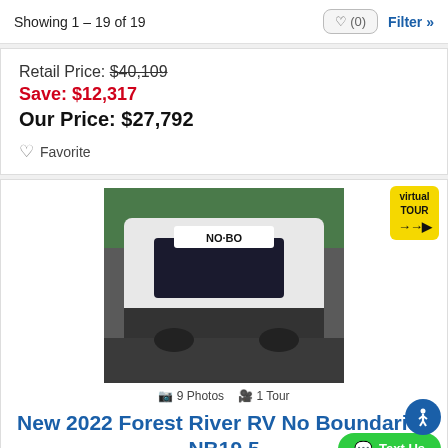Showing 1 – 19 of 19
Retail Price: $40,109
Save: $12,317
Our Price: $27,792
♡ Favorite
[Figure (photo): Photo of a white Forest River RV No Boundaries trailer parked outdoors with trees in background. Has a virtual tour badge in the top right corner.]
📷 9 Photos  🎥 1 Tour
New 2022 Forest River RV No Boundaries NB19.5